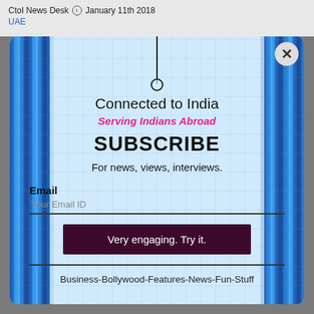CtoI News Desk  January 11th 2018
UAE
[Figure (screenshot): Subscribe modal popup overlay on a blue glass building background. Contains a pin/tag graphic at top, text fields for email subscription, and a dark maroon submit button.]
Connected to India
Serving Indians Abroad
SUBSCRIBE
For news, views, interviews.
Email
Your Email ID
Very engaging. Try it.
Business-Bollywood-Features-News-Fun-Stuff